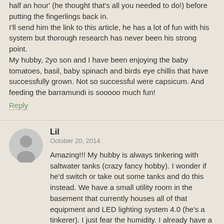half an hour' (he thought that's all you needed to do!) before putting the fingerlings back in.
I'll send him the link to this article, he has a lot of fun with his system but thorough research has never been his strong point.
My hubby, 2yo son and I have been enjoying the baby tomatoes, basil, baby spinach and birds eye chillis that have successfully grown. Not so successful were capsicum. And feeding the barramundi is sooooo much fun!
Reply
Lil
October 20, 2014
Amazing!!! My hubby is always tinkering with saltwater tanks (crazy fancy hobby). I wonder if he'd switch or take out some tanks and do this instead. We have a small utility room in the basement that currently houses all of that equipment and LED lighting system 4.0 (he's a tinkerer). I just fear the humidity. I already have a dehumidifier running down there constantly. We also loving fishing and trout fishing is one of our favorites. How awesome would it be to have our own fish! Thanks!